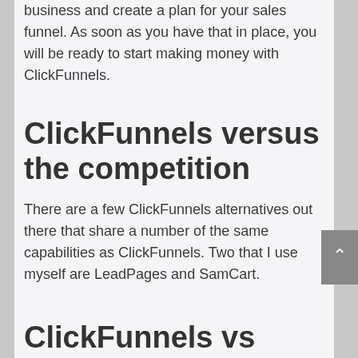business and create a plan for your sales funnel. As soon as you have that in place, you will be ready to start making money with ClickFunnels.
ClickFunnels versus the competition
There are a few ClickFunnels alternatives out there that share a number of the same capabilities as ClickFunnels. Two that I use myself are LeadPages and SamCart.
ClickFunnels vs LeadPages